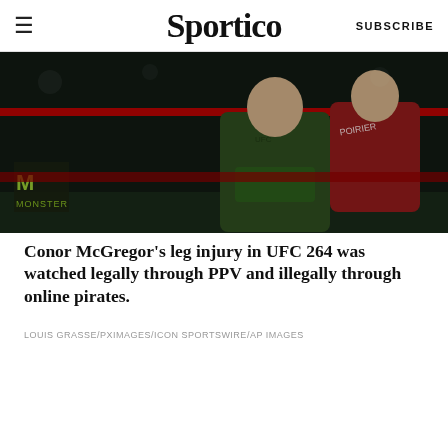≡  Sportico  SUBSCRIBE
[Figure (photo): UFC 264 fight scene showing Conor McGregor in green shorts and an opponent in red gear inside the octagon cage, dark arena background with Monster Energy branding visible on the cage.]
Conor McGregor's leg injury in UFC 264 was watched legally through PPV and illegally through online pirates.
LOUIS GRASSE/PXIMAGES/ICON SPORTSWIRE/AP IMAGES